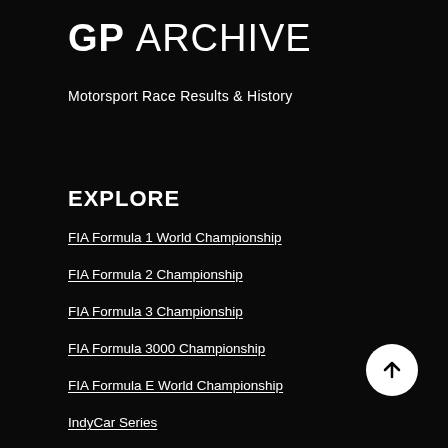GP ARCHIVE
Motorsport Race Results & History
EXPLORE
FIA Formula 1 World Championship
FIA Formula 2 Championship
FIA Formula 3 Championship
FIA Formula 3000 Championship
FIA Formula E World Championship
IndyCar Series
Indy Lights
Japanese Super Formula Championship